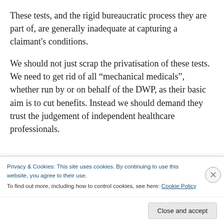These tests, and the rigid bureaucratic process they are part of, are generally inadequate at capturing a claimant’s conditions.
We should not just scrap the privatisation of these tests. We need to get rid of all “mechanical medicals”, whether run by or on behalf of the DWP, as their basic aim is to cut benefits. Instead we should demand they trust the judgement of independent healthcare professionals.
Privacy & Cookies: This site uses cookies. By continuing to use this website, you agree to their use.
To find out more, including how to control cookies, see here: Cookie Policy
Close and accept